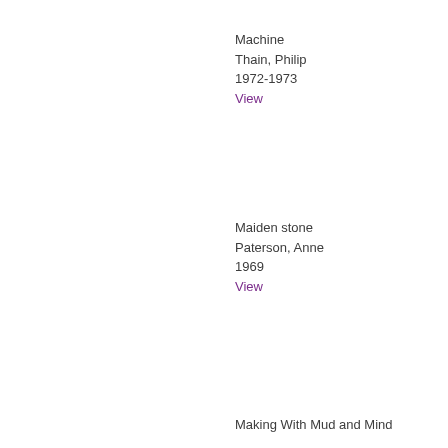Machine
Thain, Philip
1972-1973
View
Maiden stone
Paterson, Anne
1969
View
Making With Mud and Mind